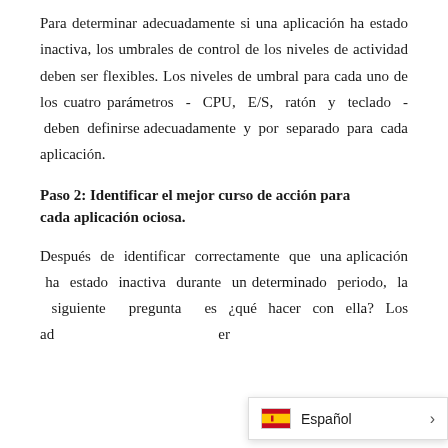Para determinar adecuadamente si una aplicación ha estado inactiva, los umbrales de control de los niveles de actividad deben ser flexibles. Los niveles de umbral para cada uno de los cuatro parámetros - CPU, E/S, ratón y teclado - deben definirse adecuadamente y por separado para cada aplicación.
Paso 2: Identificar el mejor curso de acción para cada aplicación ociosa.
Después de identificar correctamente que una aplicación ha estado inactiva durante un determinado periodo, la siguiente pregunta es ¿qué hacer con ella? Los ad er